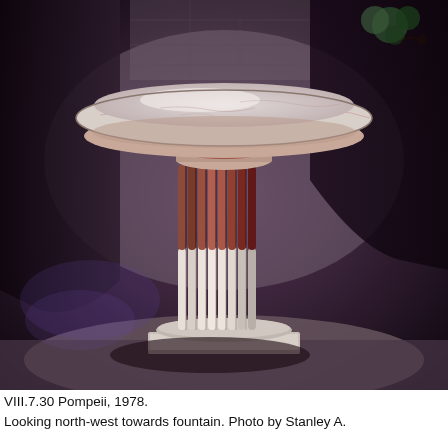[Figure (photo): Photograph of a Roman marble fountain (labrum) at Pompeii, VIII.7.30. The fountain consists of a wide shallow white marble basin with pink veining, resting on a fluted column pedestal that transitions from reddish-brown upper section to white lower section, set on a square base. The background shows stone walls, dark archways, and vegetation.]
VIII.7.30 Pompeii, 1978.
Looking north-west towards fountain. Photo by Stanley A.